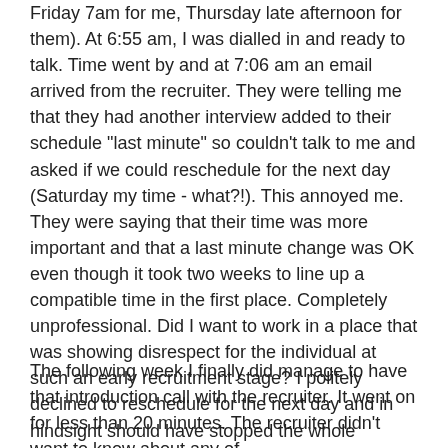Friday 7am for me, Thursday late afternoon for them). At 6:55 am, I was dialled in and ready to talk. Time went by and at 7:06 am an email arrived from the recruiter. They were telling me that they had another interview added to their schedule "last minute" so couldn't talk to me and asked if we could reschedule for the next day (Saturday my time - what?!). This annoyed me. They were saying that their time was more important and that a last minute change was OK even though it took two weeks to line up a compatible time in the first place. Completely unprofessional. Did I want to work in a place that was showing disrespect for the individual at such an early recruitment stage? I politely declined to reschedule for the next day and in hindsight should have stopped the whole process there and then. However, I was still excited so agreed to reschedule for the following week (yep having to wait another week - that's three weeks after the initial contact was made).
The following week I finally did manage to have that introduction call with the recruiter. It went on for less than 20 minutes. The recruiter didn't want to know about any of